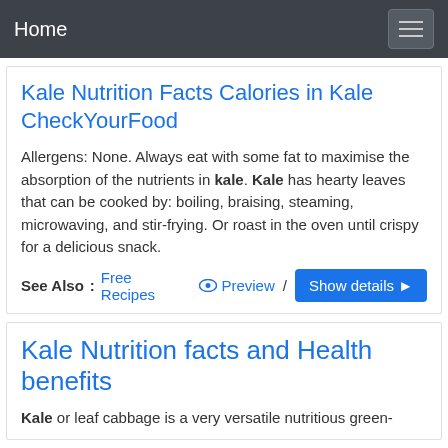Home
Kale Nutrition Facts Calories in Kale CheckYourFood
Allergens: None. Always eat with some fat to maximise the absorption of the nutrients in kale. Kale has hearty leaves that can be cooked by: boiling, braising, steaming, microwaving, and stir-frying. Or roast in the oven until crispy for a delicious snack.
See Also: Free Recipes  Preview /  Show details ▶
Kale Nutrition facts and Health benefits
Kale or leaf cabbage is a very versatile nutritious green-